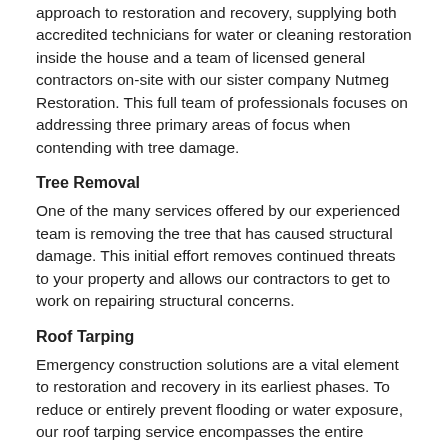approach to restoration and recovery, supplying both accredited technicians for water or cleaning restoration inside the house and a team of licensed general contractors on-site with our sister company Nutmeg Restoration. This full team of professionals focuses on addressing three primary areas of focus when contending with tree damage.
Tree Removal
One of the many services offered by our experienced team is removing the tree that has caused structural damage. This initial effort removes continued threats to your property and allows our contractors to get to work on repairing structural concerns.
Roof Tarping
Emergency construction solutions are a vital element to restoration and recovery in its earliest phases. To reduce or entirely prevent flooding or water exposure, our roof tarping service encompasses the entire damaged portion of the roof. The use of 2x4 wood planks prevents tarp removal by the wind and creates a seal so rain and moisture cannot penetrate the barrier.
Mitigation